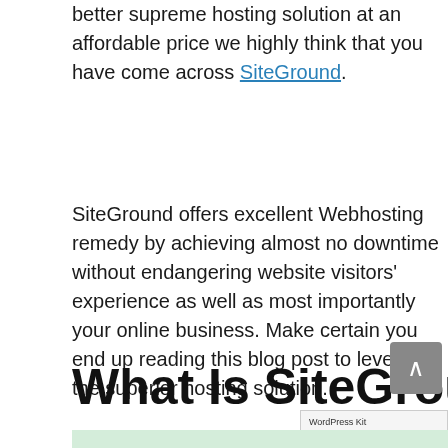better supreme hosting solution at an affordable price we highly think that you have come across SiteGround.
SiteGround offers excellent Webhosting remedy by achieving almost no downtime without endangering website visitors' experience as well as most importantly your online business. Make certain you end up reading this blog post to leverage the superior hosting solution.
What Is SiteGround?